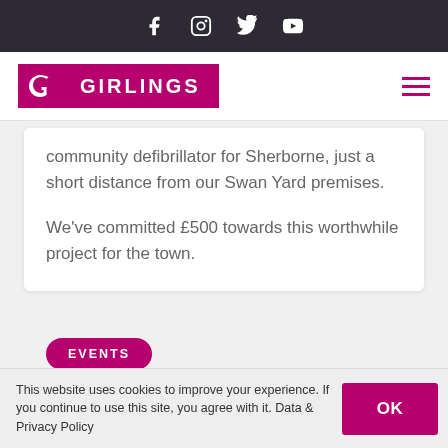Social media icons: Facebook, Instagram, Twitter, YouTube
[Figure (logo): Girlings law firm logo - pink/magenta square with G icon and GIRLINGS text on pink background]
community defibrillator for Sherborne, just a short distance from our Swan Yard premises.
We've committed £500 towards this worthwhile project for the town.
EVENTS
This website uses cookies to improve your experience. If you continue to use this site, you agree with it. Data & Privacy Policy